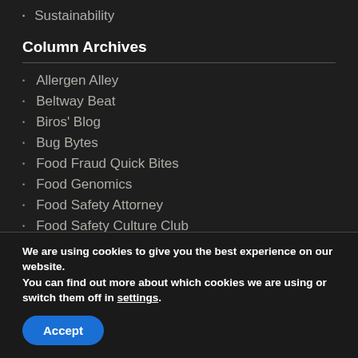Sustainability
Column Archives
Allergen Alley
Beltway Beat
Biros' Blog
Bug Bytes
Food Fraud Quick Bites
Food Genomics
Food Safety Attorney
Food Safety Culture Club
Food Safety Think Tank
We are using cookies to give you the best experience on our website.
You can find out more about which cookies we are using or switch them off in settings.
Accept